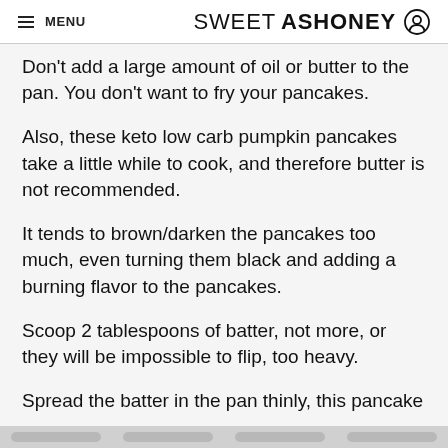≡ MENU   SWEETASHONEY ⊙
Don't add a large amount of oil or butter to the pan. You don't want to fry your pancakes.
Also, these keto low carb pumpkin pancakes take a little while to cook, and therefore butter is not recommended.
It tends to brown/darken the pancakes too much, even turning them black and adding a burning flavor to the pancakes.
Scoop 2 tablespoons of batter, not more, or they will be impossible to flip, too heavy.
Spread the batter in the pan thinly, this pancake